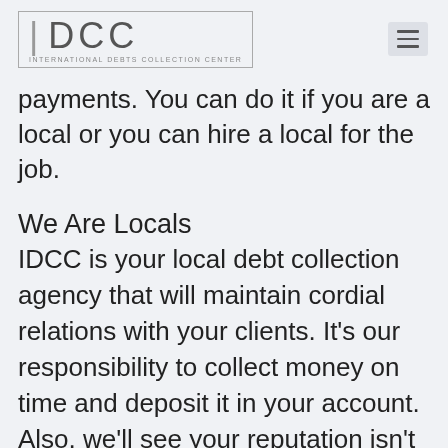IDCC INTERNATIONAL DEBTS COLLECTION CENTER
payments. You can do it if you are a local or you can hire a local for the job.
We Are Locals
IDCC is your local debt collection agency that will maintain cordial relations with your clients. It’s our responsibility to collect money on time and deposit it in your account. Also, we’ll see your reputation isn’t harmed while discharging our